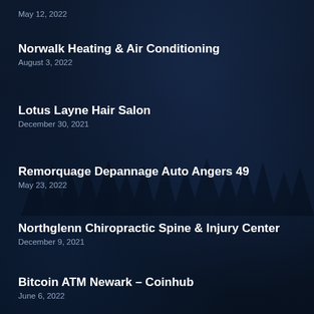May 12, 2022
Norwalk Heating & Air Conditioning
August 3, 2022
Lotus Layne Hair Salon
December 30, 2021
Remorquage Depannage Auto Angers 49
May 23, 2022
Northglenn Chiropractic Spine & Injury Center
December 9, 2021
Bitcoin ATM Newark – Coinhub
June 6, 2022